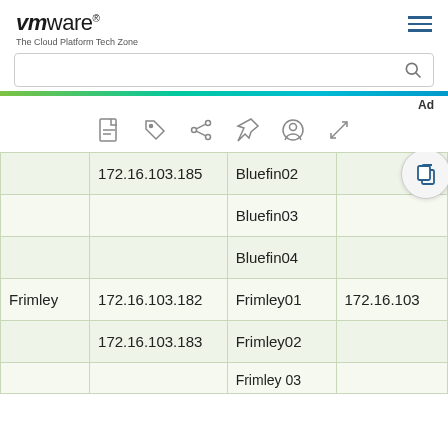VMware The Cloud Platform Tech Zone
| Site | IP | Name | Extra |
| --- | --- | --- | --- |
|  | 172.16.103.185 | Bluefin02 | [copy icon] |
|  |  | Bluefin03 |  |
|  |  | Bluefin04 |  |
| Frimley | 172.16.103.182 | Frimley01 | 172.16.103 |
|  | 172.16.103.183 | Frimley02 |  |
|  |  | Frimley03 |  |